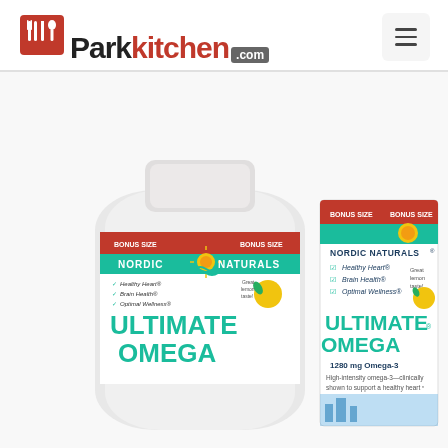Parkkitchen.com
[Figure (photo): Product photo showing Nordic Naturals Ultimate Omega Bonus Size supplement bottle and box. The bottle is white with teal and red branding. The box displays 'BONUS SIZE', 'NORDIC NATURALS', checkmarks for Healthy Heart, Brain Health, Optimal Wellness, lemon image, 'ULTIMATE OMEGA', '1280 mg Omega-3', and text 'High-intensity omega-3—clinically shown to support a healthy heart'.]